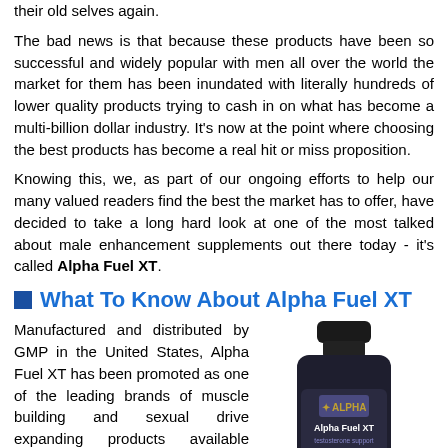their old selves again.
The bad news is that because these products have been so successful and widely popular with men all over the world the market for them has been inundated with literally hundreds of lower quality products trying to cash in on what has become a multi-billion dollar industry. It's now at the point where choosing the best products has become a real hit or miss proposition.
Knowing this, we, as part of our ongoing efforts to help our many valued readers find the best the market has to offer, have decided to take a long hard look at one of the most talked about male enhancement supplements out there today - it's called Alpha Fuel XT.
What To Know About Alpha Fuel XT
Manufactured and distributed by GMP in the United States, Alpha Fuel XT has been promoted as one of the leading brands of muscle building and sexual drive expanding products available today. The key claim for it is that it helps to slow the aging process by replenishing the body with key elements need for a high level of functioning.
[Figure (photo): Product bottle of Alpha Fuel XT dietary supplement with testosterone support label, 60 capsules]
Alpha Fuel XT Ingredients List
Although reports indicate that the full list of